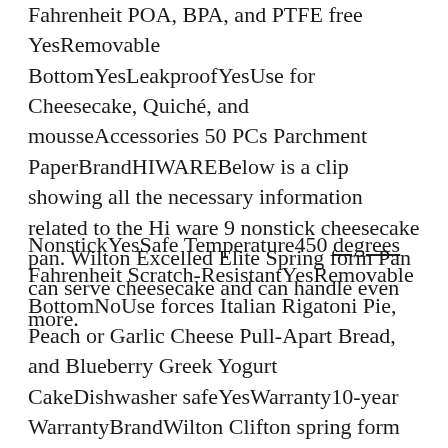Fahrenheit POA, BPA, and PTFE free YesRemovable BottomYesLeakproofYesUse for Cheesecake, Quiché, and mousseAccessories 50 PCs Parchment PaperBrandHIWAREBelow is a clip showing all the necessary information related to the Hi ware 9 nonstick cheesecake pan. Wilton Excelled Elite Spring form Pan can serve cheesecake and can handle even more.
NonstickYesSafe Temperature450 degrees Fahrenheit Scratch-ResistantYesRemovable BottomNoUse forces Italian Rigatoni Pie, Peach or Garlic Cheese Pull-Apart Bread, and Blueberry Greek Yogurt CakeDishwasher safeYesWarranty10-year WarrantyBrandWilton Clifton spring form pan is a nonstick bakeware with a heavy steel core, which prevents the product surface from warping and dispersing heat evenly.